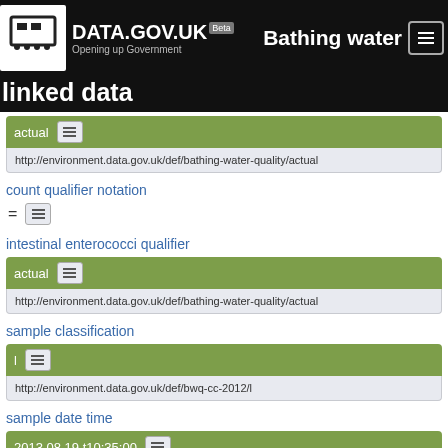DATA.GOV.UK Beta  Bathing water  Opening up Government
linked data
actual
http://environment.data.gov.uk/def/bathing-water-quality/actual
count qualifier notation
=
intestinal enterococci qualifier
actual
http://environment.data.gov.uk/def/bathing-water-quality/actual
sample classification
l
http://environment.data.gov.uk/def/bwq-cc-2012/l
sample date time
2013 08 19 t10:35:00
http://reference.data.gov.uk/id/gregorian-instant/2013-08-